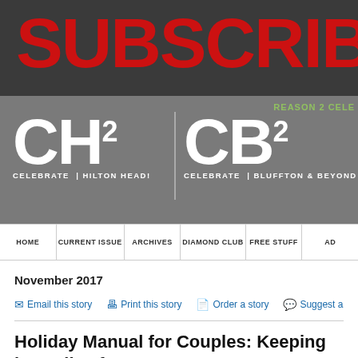[Figure (logo): Subscribe banner with large red SUBSCRIBE text on dark charcoal background with white T partially visible]
[Figure (logo): CH2 Celebrate Hilton Head and CB2 Celebrate Bluffton & Beyond logos on gray background with REASON 2 CELE label in green]
HOME | CURRENT ISSUE | ARCHIVES | DIAMOND CLUB | FREE STUFF | AD
November 2017
Email this story   Print this story   Order a story   Suggest a story
Holiday Manual for Couples: Keeping love alive f... New Year's
Author: Linda S. Hopkins